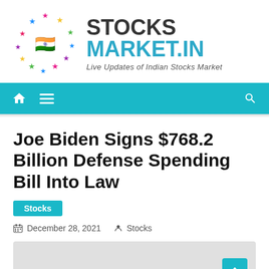[Figure (logo): StocksMarket.in logo with colorful stars circle and Indian flag in center, text STOCKS MARKET.IN with tagline Live Updates of Indian Stocks Market]
STOCKS MARKET.IN — Live Updates of Indian Stocks Market
Joe Biden Signs $768.2 Billion Defense Spending Bill Into Law
Stocks
December 28, 2021  Stocks
[Figure (photo): Gray placeholder image for article photo]